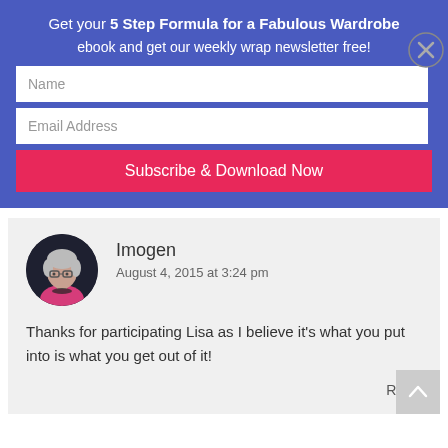Get your 5 Step Formula for a Fabulous Wardrobe ebook and get our weekly wrap newsletter free!
[Figure (screenshot): Email subscription form with Name field, Email Address field, and Subscribe & Download Now button on blue background. Close button (X) on right side.]
[Figure (photo): Circular avatar photo of Imogen - a woman with short grey/white hair, glasses, wearing a pink top with a dark necklace, photographed against a dark background.]
Imogen
August 4, 2015 at 3:24 pm
Thanks for participating Lisa as I believe it's what you put into is what you get out of it!
Reply